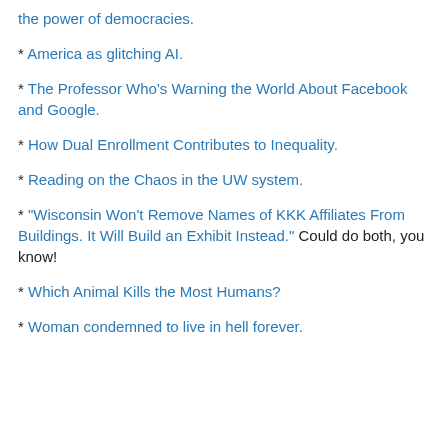the power of democracies.
* America as glitching AI.
* The Professor Who's Warning the World About Facebook and Google.
* How Dual Enrollment Contributes to Inequality.
* Reading on the Chaos in the UW system.
* “Wisconsin Won’t Remove Names of KKK Affiliates From Buildings. It Will Build an Exhibit Instead.” Could do both, you know!
* Which Animal Kills the Most Humans?
* Woman condemned to live in hell forever.